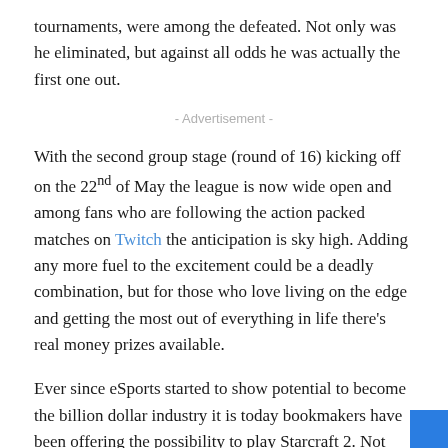tournaments, were among the defeated. Not only was he eliminated, but against all odds he was actually the first one out.
- Advertisement -
With the second group stage (round of 16) kicking off on the 22nd of May the league is now wide open and among fans who are following the action packed matches on Twitch the anticipation is sky high. Adding any more fuel to the excitement could be a deadly combination, but for those who love living on the edge and getting the most out of everything in life there's real money prizes available.
Ever since eSports started to show potential to become the billion dollar industry it is today bookmakers have been offering the possibility to play Starcraft 2. Not every gaming site online have esports available on the game, but the vast majority